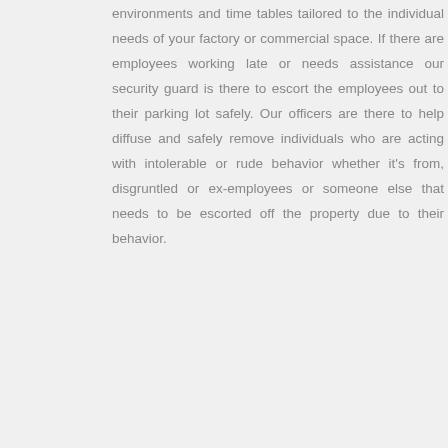environments and time tables tailored to the individual needs of your factory or commercial space. If there are employees working late or needs assistance our security guard is there to escort the employees out to their parking lot safely. Our officers are there to help diffuse and safely remove individuals who are acting with intolerable or rude behavior whether it's from, disgruntled or ex-employees or someone else that needs to be escorted off the property due to their behavior.